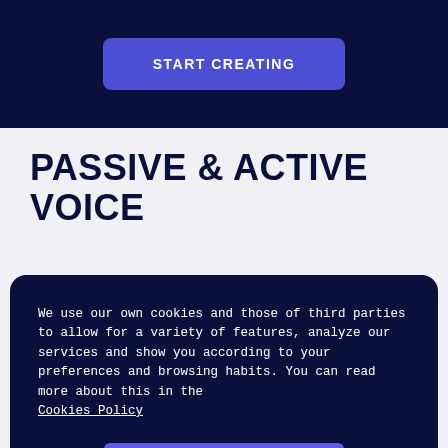START CREATING
PASSIVE & ACTIVE VOICE
We use our own cookies and those of third parties to allow for a variety of features, analyze our services and show you according to your preferences and browsing habits. You can read more about this in the Cookies Policy
Accept All Cookies
Settings to configure or reject cookies